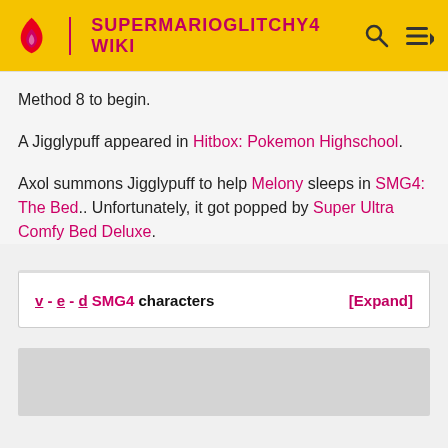SUPERMARIOGLITCHY4 WIKI
Method 8 to begin.
A Jigglypuff appeared in Hitbox: Pokemon Highschool.
Axol summons Jigglypuff to help Melony sleeps in SMG4: The Bed.. Unfortunately, it got popped by Super Ultra Comfy Bed Deluxe.
| v - e - d SMG4 characters | [Expand] |
| --- | --- |